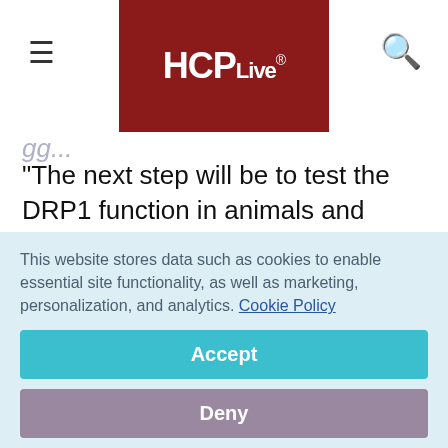HCPLive®
"The next step will be to test the DRP1 function in animals and patients to see whether the protein also protects the brain," Bossy-Wetzel said. "This could be done before the onset of disease in patients who have the mutant
This website stores data such as cookies to enable essential site functionality, as well as marketing, personalization, and analytics. Cookie Policy
Accept
Deny